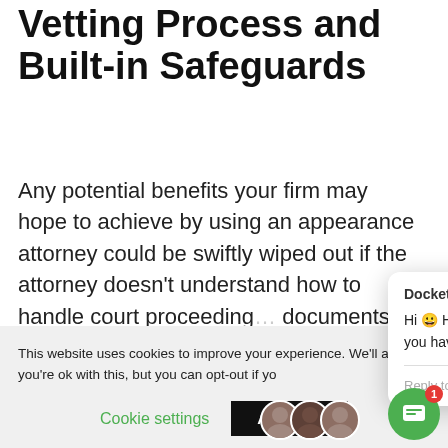Vetting Process and Built-in Safeguards
Any potential benefits your firm may hope to achieve by using an appearance attorney could be swiftly wiped out if the attorney doesn't understand how to handle court proceedings, prepare documents in the... case is taking place... referral service website may seem professional, but...
[Figure (screenshot): Docketly chat popup widget showing message: Hi 😀 Have a look around! Let us know if you have any questions. With Reply to Docketly... input field and emoji/attachment icons. Orange accessibility button visible top-right.]
This website uses cookies to improve your experience. We'll assume you're ok with this, but you can opt-out if you
Cookie settings   ACCEPT